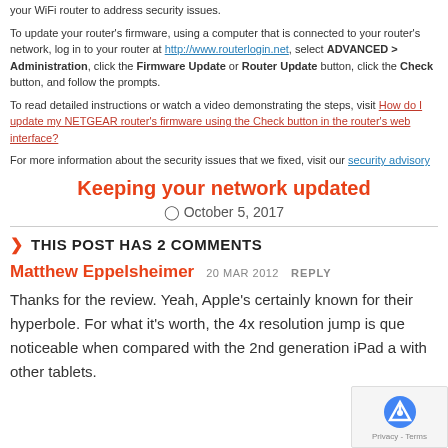your WiFi router to address security issues.
To update your router's firmware, using a computer that is connected to your router's network, log in to your router at http://www.routerlogin.net, select ADVANCED > Administration, click the Firmware Update or Router Update button, click the Check button, and follow the prompts.
To read detailed instructions or watch a video demonstrating the steps, visit How do I update my NETGEAR router's firmware using the Check button in the router's web interface?
For more information about the security issues that we fixed, visit our security advisory
Keeping your network updated
October 5, 2017
THIS POST HAS 2 COMMENTS
Matthew Eppelsheimer  20 MAR 2012  REPLY
Thanks for the review. Yeah, Apple's certainly known for their hyperbole. For what it's worth, the 4x resolution jump is quite noticeable when compared with the 2nd generation iPad and with other tablets.